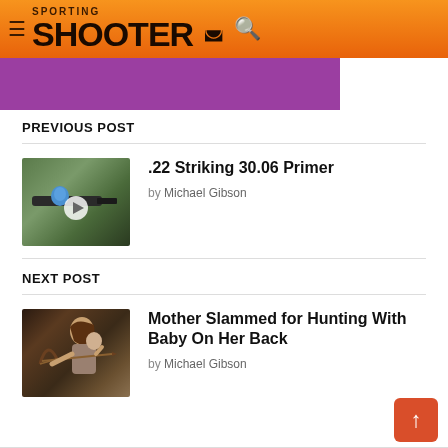SPORTING SHOOTER
[Figure (screenshot): Purple banner strip at top of page content area]
PREVIOUS POST
[Figure (photo): Close-up photo of a rifle with a blue object, play button overlay]
.22 Striking 30.06 Primer
by Michael Gibson
NEXT POST
[Figure (photo): Photo of a woman hunting with a baby on her back]
Mother Slammed for Hunting With Baby On Her Back
by Michael Gibson